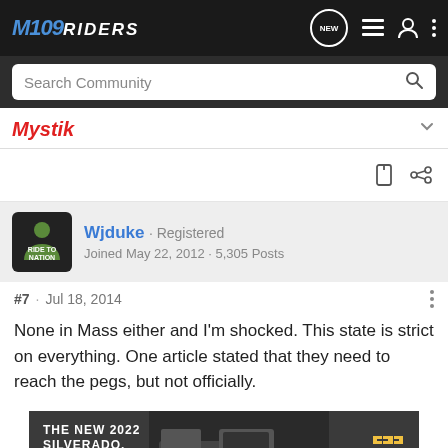M109Riders
Search Community
Mystik
Wjduke · Registered
Joined May 22, 2012 · 5,305 Posts
#7 · Jul 18, 2014
None in Mass either and I'm shocked. This state is strict on everything. One article stated that they need to reach the pegs, but not officially.
[Figure (photo): Advertisement banner for The New 2022 Silverado by Chevrolet, showing a dark truck in a natural setting with an Explore button and Chevrolet logo.]